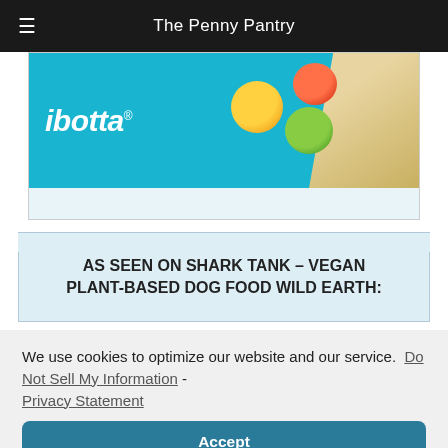The Penny Pantry
[Figure (photo): Ibotta advertisement banner showing the ibotta logo in white italic text on a cyan/blue background with fruits (orange, tomato, green apple) and a paper bag]
AS SEEN ON SHARK TANK – VEGAN PLANT-BASED DOG FOOD WILD EARTH:
We use cookies to optimize our website and our service.  Do Not Sell My Information  -  Privacy Statement
Accept
[Figure (photo): Partial bottom image strip with 'MADE FROM' text visible]